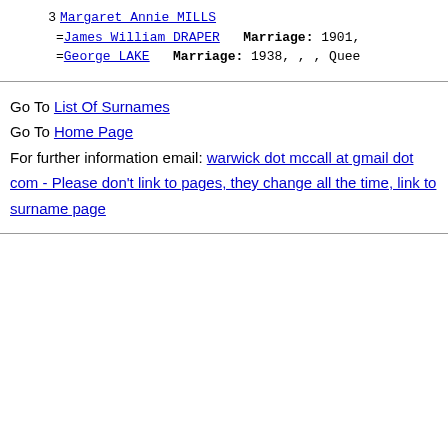3 Margaret Annie MILLS =James William DRAPER Marriage: 1901, =George LAKE Marriage: 1938, , , Queen
Go To List Of Surnames
Go To Home Page
For further information email: warwick dot mccall at gmail dot com - Please don't link to pages, they change all the time, link to surname page